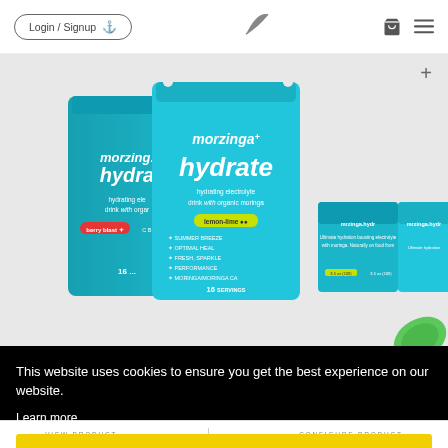Login / Signup | [sail logo] | [cart icon] | [menu icon]
[Figure (photo): Morzinga Hydrate product packages — teal/aqua stand-up pouches and small cylindrical containers with 'morzinga hydrate — hydrating electrolyte drink with organic moringa' branding, shown against light background. A green leaf accent is visible at bottom right. A plus (+) button appears at top right of the product area.]
This website uses cookies to ensure you get the best experience on our website.
Learn more
Got it!
VIEW PRODUCT    CONFIGURE PRODUCT